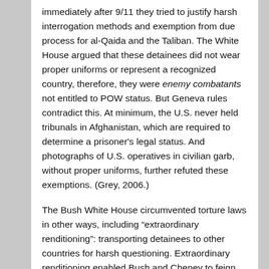immediately after 9/11 they tried to justify harsh interrogation methods and exemption from due process for al-Qaida and the Taliban. The White House argued that these detainees did not wear proper uniforms or represent a recognized country, therefore, they were enemy combatants not entitled to POW status. But Geneva rules contradict this. At minimum, the U.S. never held tribunals in Afghanistan, which are required to determine a prisoner's legal status. And photographs of U.S. operatives in civilian garb, without proper uniforms, further refuted these exemptions. (Grey, 2006.)
The Bush White House circumvented torture laws in other ways, including “extraordinary renditioning”: transporting detainees to other countries for harsh questioning. Extraordinary renditioning enabled Bush and Cheney to feign